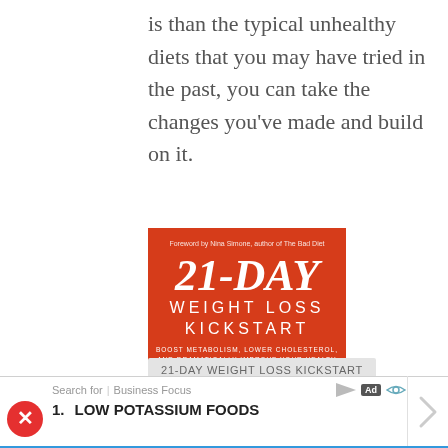is than the typical unhealthy diets that you may have tried in the past, you can take the changes you’ve made and build on it.
[Figure (photo): Book cover: '21-Day Weight Loss Kickstart' by Neal D. Barnard, MD. Red cover with a tape measure shaped in a wave pattern. Subtitle: Boost Metabolism, Lower Cholesterol, and Dramatically Improve Your Health.]
21-DAY WEIGHT LOSS KICKSTART
LACK OF FIBER
MEAL PREP
Search for | Business Focus  1. LOW POTASSIUM FOODS